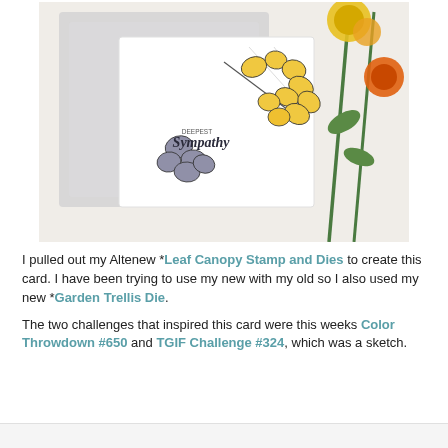[Figure (photo): A handmade sympathy card featuring leaf branch stamps in yellow and gray/purple tones with 'Deepest Sympathy' text, placed on a white surface alongside yellow and orange flowers, with a decorative white frame in the background.]
I pulled out my Altenew *Leaf Canopy Stamp and Dies to create this card. I have been trying to use my new with my old so I also used my new *Garden Trellis Die.
The two challenges that inspired this card were this weeks Color Throwdown #650 and TGIF Challenge #324, which was a sketch.